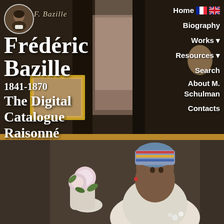[Figure (screenshot): Website screenshot for Frédéric Bazille Digital Catalogue Raisonné. Top half shows a dark painting background with navigation menu on the right (Home, Biography, Works, Resources, Search, About M. Schulman, Contacts). Left side shows artist portrait in oval, cursive signature, and large white bold text reading 'Frédéric Bazille 1841-1870 The Digital Catalogue Raisonné'. Bottom half shows a painting of a woman with a colorful headscarf holding white flowers.]